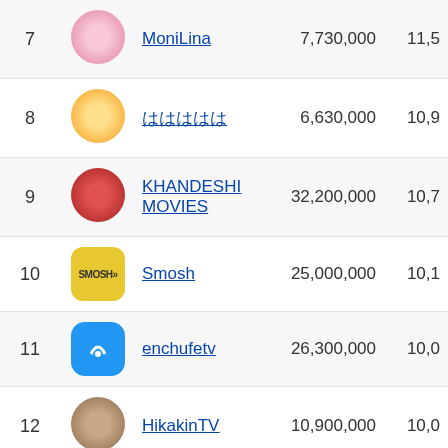| # | Icon | Channel | Subscribers | Value |
| --- | --- | --- | --- | --- |
| 7 |  | MoniLina | 7,730,000 | 11,5 |
| 8 |  | ははははは | 6,630,000 | 10,9 |
| 9 |  | KHANDESHI MOVIES | 32,200,000 | 10,7 |
| 10 |  | Smosh | 25,000,000 | 10,1 |
| 11 |  | enchufetv | 26,300,000 | 10,0 |
| 12 |  | HikakinTV | 10,900,000 | 10,0 |
| 13 |  | dednahype | 9,420,000 | 9,10 |
| 14 |  | Topper Guild | 8,500,000 | 8,86 |
| 15 |  | TIKTORIKI | 4,260,000 | 8,62 |
| 16 |  |  |  |  |